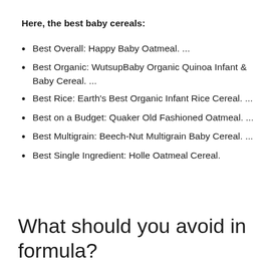Here, the best baby cereals:
Best Overall: Happy Baby Oatmeal. ...
Best Organic: WutsupBaby Organic Quinoa Infant & Baby Cereal. ...
Best Rice: Earth's Best Organic Infant Rice Cereal. ...
Best on a Budget: Quaker Old Fashioned Oatmeal. ...
Best Multigrain: Beech-Nut Multigrain Baby Cereal. ...
Best Single Ingredient: Holle Oatmeal Cereal.
What should you avoid in formula?